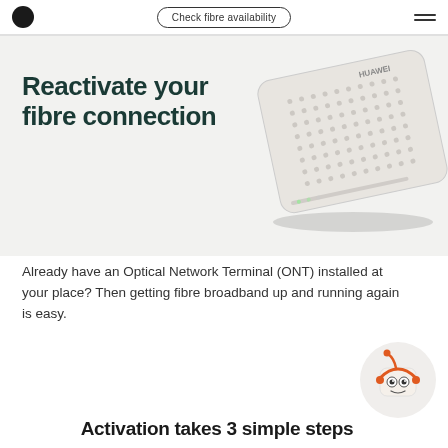Check fibre availability
Reactivate your fibre connection
[Figure (photo): Huawei Optical Network Terminal (ONT) device — a white rectangular box with a mesh grille pattern, shown at an angle]
Already have an Optical Network Terminal (ONT) installed at your place? Then getting fibre broadband up and running again is easy.
[Figure (illustration): Cartoon robot mascot with orange hair/antenna, headset, and friendly face in a light grey circular background]
Activation takes 3 simple steps